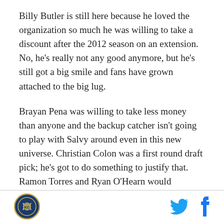Billy Butler is still here because he loved the organization so much he was willing to take a discount after the 2012 season on an extension. No, he's really not any good anymore, but he's still got a big smile and fans have grown attached to the big lug.
Brayan Pena was willing to take less money than anyone and the backup catcher isn't going to play with Salvy around even in this new universe. Christian Colon was a first round draft pick; he's got to do something to justify that. Ramon Torres and Ryan O'Hearn would probably be better served getting more seasoning in the minors, but you have to fill out the roster and they seem like the best guys. They've both
[Figure (logo): Royals-style circular logo with baseball and dark blue/gold colors]
[Figure (logo): Twitter bird icon in cyan blue]
[Figure (logo): Facebook f icon in dark blue]